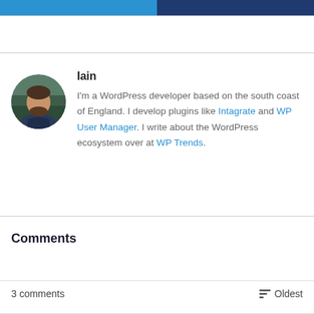[Figure (other): Two social sharing buttons at the top — a blue share button on the left and a dark navy button on the right]
Iain
I'm a WordPress developer based on the south coast of England. I develop plugins like Intagrate and WP User Manager. I write about the WordPress ecosystem over at WP Trends.
Comments
3 comments
Oldest